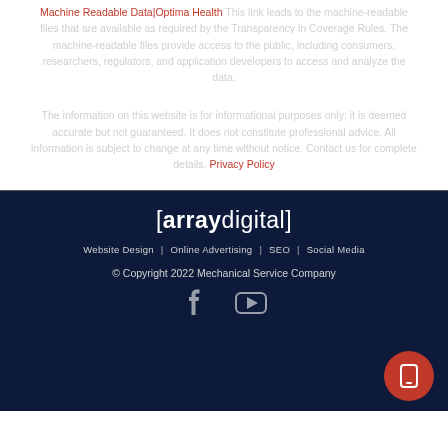Machine Readable Data|Optima Health This link leads to the machine-readable files that are available as required by the Transparency in Coverage Rules. The machine-readable files provide access to the public, including consumers, researchers, regulators, and application developers to access and analyze the data.
The information on this website is for informational purposes only; it is deemed accurate but not guaranteed. It does not constitute professional advice. All information is subject to change at any time without notice. Contact us for complete details. Privacy Policy
[Figure (logo): [arraydigital] logo in white text on dark navy background]
Website Design | Online Advertising | SEO | Social Media
© Copyright 2022 Mechanical Service Company
[Figure (illustration): Facebook and YouTube social media icons in grey/white]